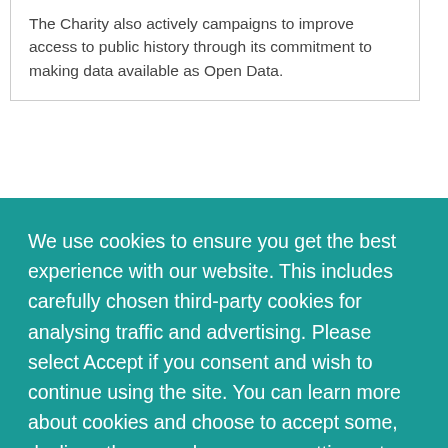The Charity also actively campaigns to improve access to public history through its commitment to making data available as Open Data.
We use cookies to ensure you get the best experience with our website. This includes carefully chosen third-party cookies for analysing traffic and advertising. Please select Accept if you consent and wish to continue using the site. You can learn more about cookies and choose to accept some, decline others, or change your settings at a later date by clicking the 'About Cookies' button, or in the footer of the website at any time
ACCEPT   About Cookies